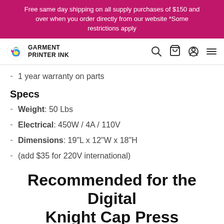Free same day shipping on all supply purchases of $150 and over when you order directly from our website *Some restrictions apply
[Figure (logo): Garment Printer Ink logo with colorful parrot icon and navigation icons (search, cart, user, menu)]
1 year warranty on parts
Specs
Weight: 50 Lbs
Electrical: 450W / 4A / 110V
Dimensions: 19"L x 12"W x 18"H
(add $35 for 220V international)
Recommended for the Digital Knight Cap Press